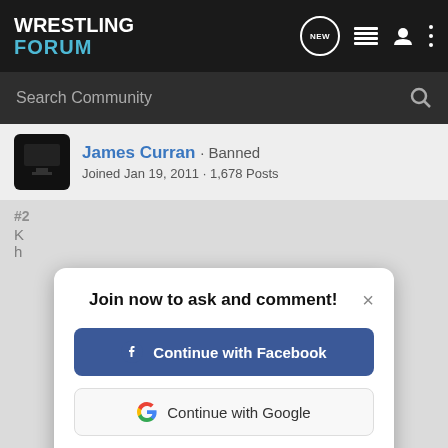Wrestling Forum
Search Community
James Curran · Banned
Joined Jan 19, 2011 · 1,678 Posts
#2
K... h...
[Figure (screenshot): Modal dialog with title 'Join now to ask and comment!' with Continue with Facebook button, Continue with Google button, and 'or sign up with email' link]
http://www.wrestlingforum.com/booker/621439-wwe-new-time.html
Reply  Quote